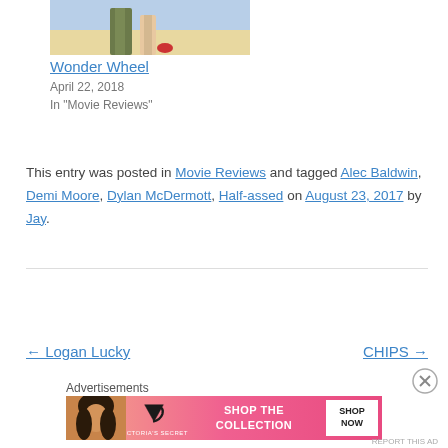[Figure (photo): Partial view of two people standing on a beach, cropped showing lower bodies]
Wonder Wheel
April 22, 2018
In "Movie Reviews"
This entry was posted in Movie Reviews and tagged Alec Baldwin, Demi Moore, Dylan McDermott, Half-assed on August 23, 2017 by Jay.
← Logan Lucky
CHIPS →
Advertisements
[Figure (photo): Victoria's Secret advertisement banner with model, VS logo, SHOP THE COLLECTION text, and SHOP NOW button]